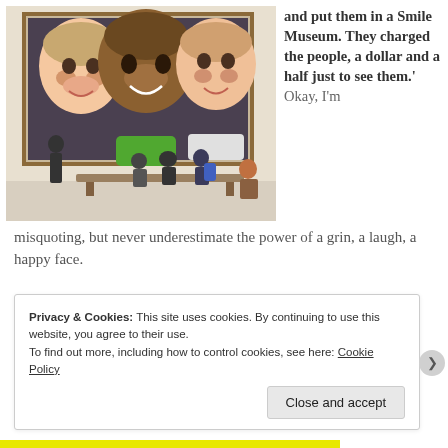[Figure (photo): Museum gallery photo: children sitting on a bench viewed from behind, looking at a large painting on the wall featuring three smiling children's faces]
and put them in a Smile Museum. They charged the people, a dollar and a half just to see them.' Okay, I'm misquoting, but never underestimate the power of a grin, a laugh, a happy face.
Privacy & Cookies: This site uses cookies. By continuing to use this website, you agree to their use.
To find out more, including how to control cookies, see here: Cookie Policy
Close and accept